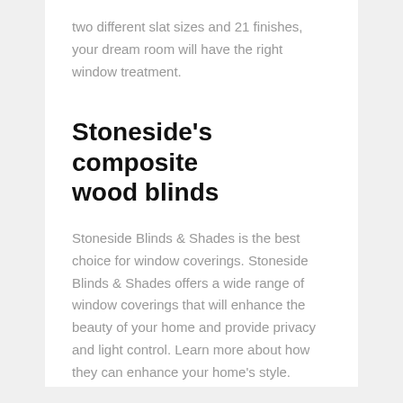two different slat sizes and 21 finishes, your dream room will have the right window treatment.
Stoneside’s composite wood blinds
Stoneside Blinds & Shades is the best choice for window coverings. Stoneside Blinds & Shades offers a wide range of window coverings that will enhance the beauty of your home and provide privacy and light control. Learn more about how they can enhance your home’s style.